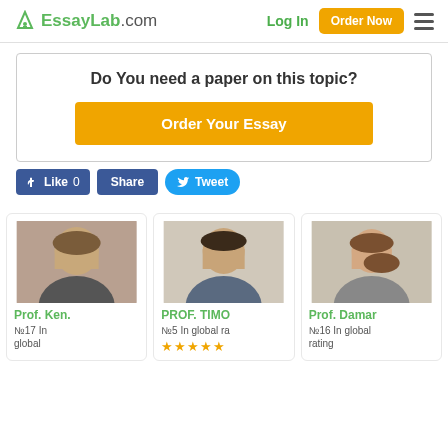EssayLab.com | Log In | Order Now
Do You need a paper on this topic?
Order Your Essay
[Figure (screenshot): Social buttons: Like 0, Share, Tweet]
[Figure (photo): Prof. Ken. profile photo]
Prof. Ken.
№17 In global
[Figure (photo): PROF. TIMO profile photo]
PROF. TIMO
№5 In global ra
[Figure (photo): Prof. Damar profile photo]
Prof. Damar
№16 In global rating